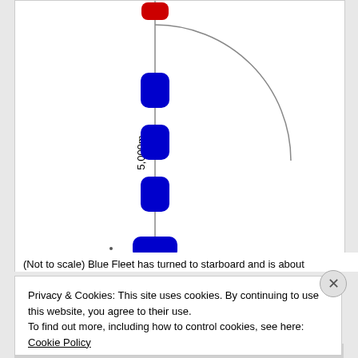[Figure (schematic): Naval diagram showing a vertical line representing a ship track (5,000m scale marker). A red rounded rectangle at the top represents Red Fleet. Blue rounded rectangles (one wider, three narrower) represent Blue Fleet ships arranged vertically below. A gray semicircle arc extends to the right from near the top of the vertical line, suggesting a turning radius or zone.]
(Not to scale) Blue Fleet has turned to starboard and is about
Privacy & Cookies: This site uses cookies. By continuing to use this website, you agree to their use.
To find out more, including how to control cookies, see here: Cookie Policy
Close and accept